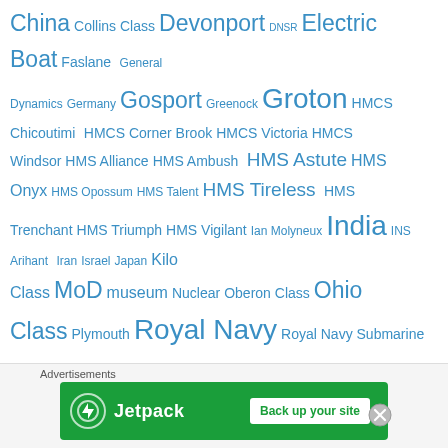China Collins Class Devonport DNSR Electric Boat Faslane General Dynamics Germany Gosport Greenock Groton HMCS Chicoutimi HMCS Corner Brook HMCS Victoria HMCS Windsor HMS Alliance HMS Ambush HMS Astute HMS Onyx HMS Opossum HMS Talent HMS Tireless HMS Trenchant HMS Triumph HMS Vigilant Ian Molyneux India INS Arihant Iran Israel Japan Kilo Class MoD museum Nuclear Oberon Class Ohio Class Plymouth Royal Navy Royal Navy Submarine Museum Russia Russian Submarine Scorpene Singapore SNP South Korea Spain Submarine Submariner Submarines Sweden Taiwan Trafalgar Class Trident USS Miami USS San Francisco Vanguard Victoria class Video Clip Vietnam Virgina Class Virginia Class WW1
Advertisements
[Figure (other): Jetpack advertisement banner with green background, Jetpack logo, and 'Back up your site' button]